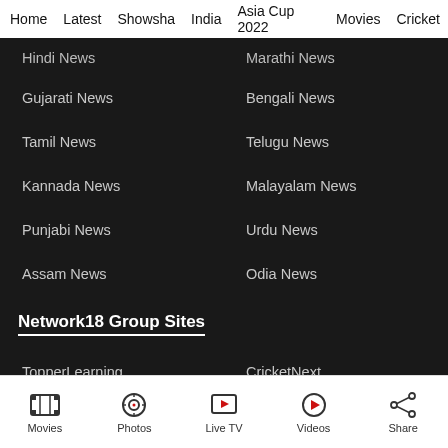Home  Latest  Showsha  India  Asia Cup 2022  Movies  Cricket
Hindi News
Marathi News
Gujarati News
Bengali News
Tamil News
Telugu News
Kannada News
Malayalam News
Punjabi News
Urdu News
Assam News
Odia News
Network18 Group Sites
TopperLearning
CricketNext
Moneycontrol
Firstpost
Movies  Photos  Live TV  Videos  Share